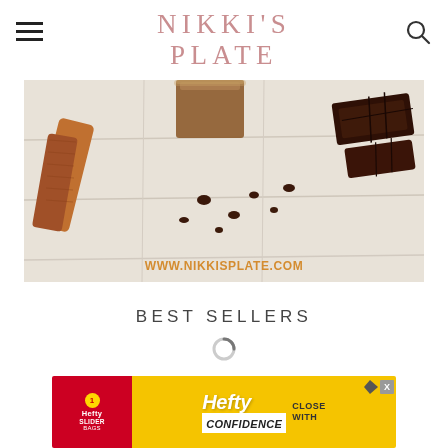NIKKI'S PLATE
[Figure (photo): A glass of chocolate drink with cinnamon sticks and chocolate bar pieces on a white wooden table. URL www.nikkisplate.com overlaid at bottom.]
BEST SELLERS
[Figure (other): Loading spinner icon]
[Figure (other): Hefty brand advertisement banner reading: Hefty CLOSE WITH CONFIDENCE]